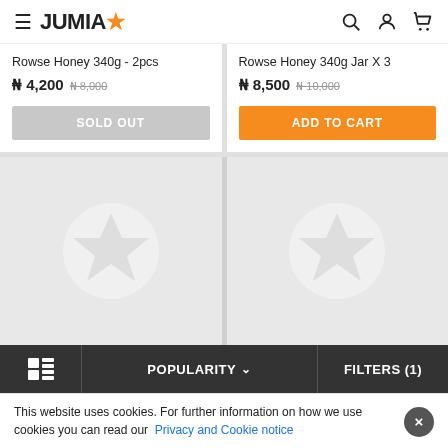JUMIA
Rowse Honey 340g - 2pcs
₦ 4,200 ₦ 8,000
SOLD OUT
Rowse Honey 340g Jar X 3
₦ 8,500 ₦ 10,000
ADD TO CART
[Figure (illustration): Two product image placeholder cards with Jumia star logos on grey background]
POPULARITY
FILTERS (1)
This website uses cookies. For further information on how we use cookies you can read our Privacy and Cookie notice